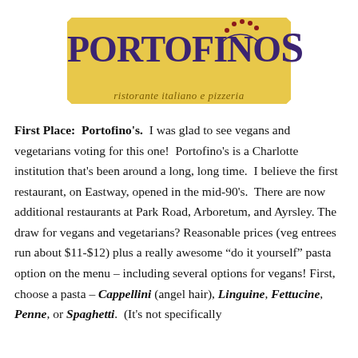[Figure (logo): Portofino's restaurant logo: golden/yellow background banner with purple bold text 'PORTOFINOS', subtitle 'ristorante italiano e pizzeria' in italic gold/brown, and a decorative arc with red dots above the S]
First Place: Portofino's. I was glad to see vegans and vegetarians voting for this one! Portofino's is a Charlotte institution that's been around a long, long time. I believe the first restaurant, on Eastway, opened in the mid-90's. There are now additional restaurants at Park Road, Arboretum, and Ayrsley. The draw for vegans and vegetarians? Reasonable prices (veg entrees run about $11-$12) plus a really awesome “do it yourself” pasta option on the menu – including several options for vegans! First, choose a pasta – Cappellini (angel hair), Linguine, Fettucine, Penne, or Spaghetti. (It's not specifically